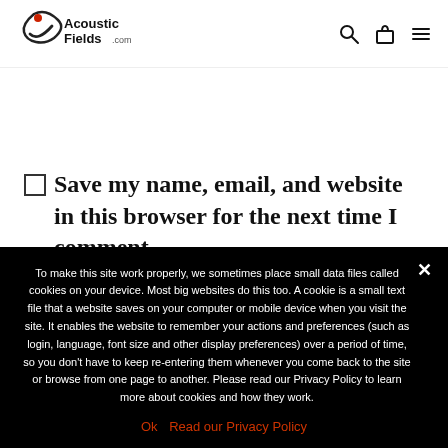[Figure (logo): Acoustic Fields .com logo with stylized checkmark/swoosh in black and red dot]
[Figure (other): Navigation icons: search magnifying glass, shopping bag, hamburger menu]
Save my name, email, and website in this browser for the next time I comment.
To make this site work properly, we sometimes place small data files called cookies on your device. Most big websites do this too. A cookie is a small text file that a website saves on your computer or mobile device when you visit the site. It enables the website to remember your actions and preferences (such as login, language, font size and other display preferences) over a period of time, so you don't have to keep re-entering them whenever you come back to the site or browse from one page to another. Please read our Privacy Policy to learn more about cookies and how they work.
Ok   Read our Privacy Policy